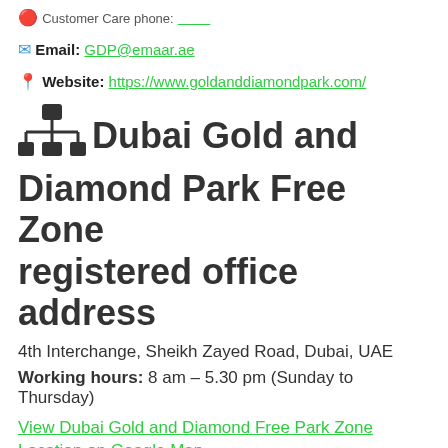Email: GDP@emaar.ae
Website: https://www.goldanddiamondpark.com/
Dubai Gold and Diamond Park Free Zone registered office address
4th Interchange, Sheikh Zayed Road, Dubai, UAE
Working hours: 8 am – 5.30 pm (Sunday to Thursday)
View Dubai Gold and Diamond Free Park Zone Location on Google Map